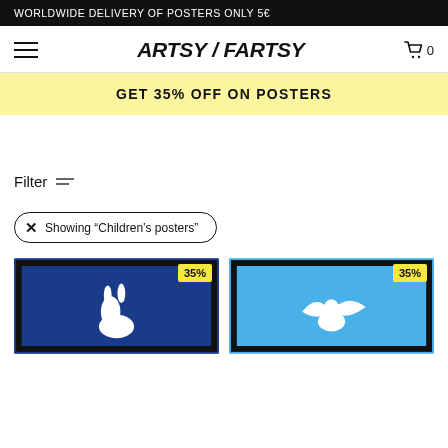WORLDWIDE DELIVERY OF POSTERS ONLY 5€
ARTSY / FARTSY
0
GET 35% OFF ON POSTERS
Filter
Showing "Children's posters"
[Figure (photo): Product card with dark blue background and white rabbit silhouette, showing 35% badge]
[Figure (photo): Product card with light blue background and white bird/angel silhouette, showing 35% badge]